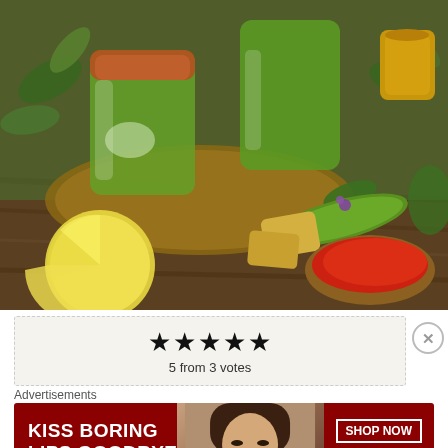[Figure (photo): Two green cocktails in glasses on a wooden board, surrounded by sliced lemons, cucumber slices, ginger, edible flowers, and a copper bowl of red spice powder, with herbs in the background]
★★★★★
5 from 3 votes
Advertisements
[Figure (screenshot): Macy's advertisement banner with dark red background. Text reads 'KISS BORING LIPS GOODBYE' on the left, a model with red lips in the center, and 'SHOP NOW' button with Macy's star logo on the right.]